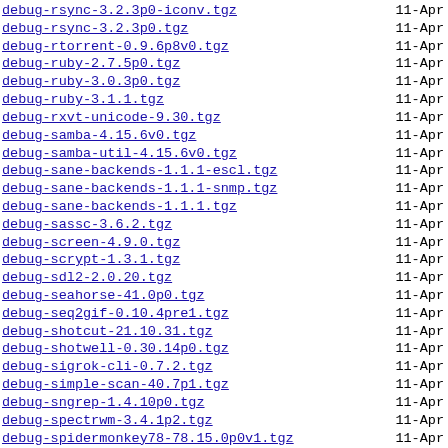debug-rsync-3.2.3p0-iconv.tgz   11-Apr
debug-rsync-3.2.3p0.tgz   11-Apr
debug-rtorrent-0.9.6p8v0.tgz   11-Apr
debug-ruby-2.7.5p0.tgz   11-Apr
debug-ruby-3.0.3p0.tgz   11-Apr
debug-ruby-3.1.1.tgz   11-Apr
debug-rxvt-unicode-9.30.tgz   11-Apr
debug-samba-4.15.6v0.tgz   11-Apr
debug-samba-util-4.15.6v0.tgz   11-Apr
debug-sane-backends-1.1.1-escl.tgz   11-Apr
debug-sane-backends-1.1.1-snmp.tgz   11-Apr
debug-sane-backends-1.1.1.tgz   11-Apr
debug-sassc-3.6.2.tgz   11-Apr
debug-screen-4.9.0.tgz   11-Apr
debug-scrypt-1.3.1.tgz   11-Apr
debug-sdl2-2.0.20.tgz   11-Apr
debug-seahorse-41.0p0.tgz   11-Apr
debug-seq2gif-0.10.4pre1.tgz   11-Apr
debug-shotcut-21.10.31.tgz   11-Apr
debug-shotwell-0.30.14p0.tgz   11-Apr
debug-sigrok-cli-0.7.2.tgz   11-Apr
debug-simple-scan-40.7p1.tgz   11-Apr
debug-sngrep-1.4.10p0.tgz   11-Apr
debug-spectrwm-3.4.1p2.tgz   11-Apr
debug-spidermonkey78-78.15.0p0v1.tgz   11-Apr
debug-squashfs-tools-4.4.1p0.tgz   11-Apr
debug-squid-5.4.1p2-krb5.tgz   11-Apr
debug-squid-5.4.1p2.tgz   11-Apr
debug-squid-ldap-5.4.1p2.tgz   11-Apr
debug-sshguard-2.4.2.tgz   11-Apr